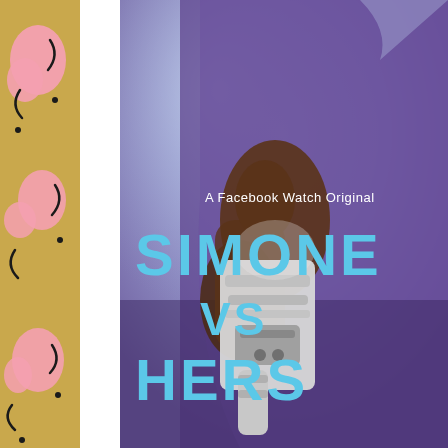[Figure (illustration): Abstract art panel on golden/tan background with pink blob shapes and black curved lines/dots pattern]
[Figure (photo): Promotional poster for 'Simone vs Herself', a Facebook Watch Original. Shows a person in a purple athletic top holding a gymnastics apparatus, with blue and purple bokeh background. Large cyan/blue text reads 'SIMONE VS HERSELF' and white text reads 'A Facebook Watch Original'.]